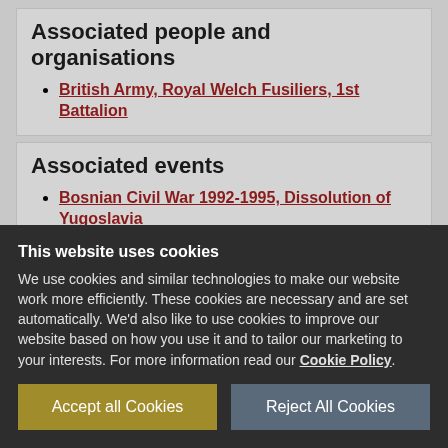Associated people and organisations
British Army, Royal Welch Fusiliers, 1st Battalion
Associated events
Bosnian Civil War 1992-1995, Dissolution of Yugoslavia
This website uses cookies
We use cookies and similar technologies to make our website work more efficiently. These cookies are necessary and are set automatically. We'd also like to use cookies to improve our website based on how you use it and to tailor our marketing to your interests. For more information read our Cookie Policy.